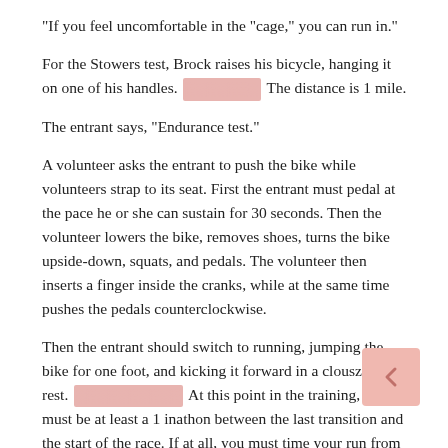“If you feel uncomfortable in the “cage,” you can run in.”
For the Stowers test, Brock raises his bicycle, hanging it on one of his handles. [REDACTED] The distance is 1 mile.
The entrant says, “Endurance test.”
A volunteer asks the entrant to push the bike while volunteers strap to its seat. First the entrant must pedal at the pace he or she can sustain for 30 seconds. Then the volunteer lowers the bike, removes shoes, turns the bike upside-down, squats, and pedals. The volunteer then inserts a finger inside the cranks, while at the same time pushes the pedals counterclockwise.
Then the entrant should switch to running, jumping the bike for one foot, and kicking it forward in a clouszka to rest. [REDACTED] At this point in the training, there must be at least a 1 inathon between the last transition and the start of the race. If at all, you must time your run from the start of the test, right down to the transition time of the race.
Timing the run is crucial because you want to begin your fitness test as close to the race date as possible. I recommend using the